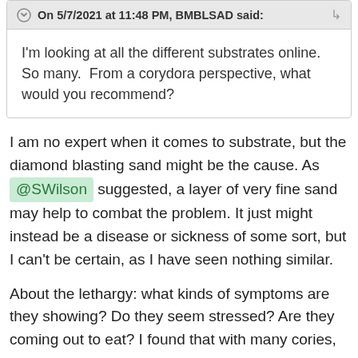On 5/7/2021 at 11:48 PM, BMBLSAD said:
I'm looking at all the different substrates online. So many.  From a corydora perspective, what would you recommend?
I am no expert when it comes to substrate, but the diamond blasting sand might be the cause. As @SWilson suggested, a layer of very fine sand may help to combat the problem. It just might instead be a disease or sickness of some sort, but I can't be certain, as I have seen nothing similar.
About the lethargy: what kinds of symptoms are they showing? Do they seem stressed? Are they coming out to eat? I found that with many cories,